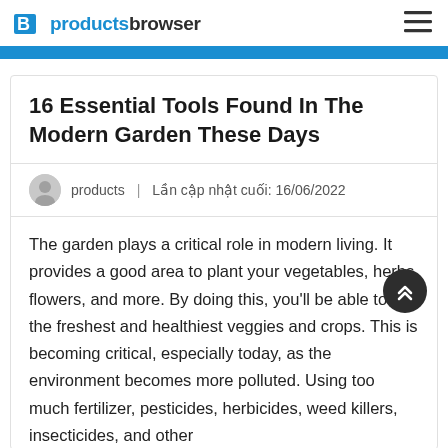productsbrowser
16 Essential Tools Found In The Modern Garden These Days
products | Lần cập nhật cuối: 16/06/2022
The garden plays a critical role in modern living. It provides a good area to plant your vegetables, herbs, flowers, and more. By doing this, you'll be able to get the freshest and healthiest veggies and crops. This is becoming critical, especially today, as the environment becomes more polluted. Using too much fertilizer, pesticides, herbicides, weed killers, insecticides, and other